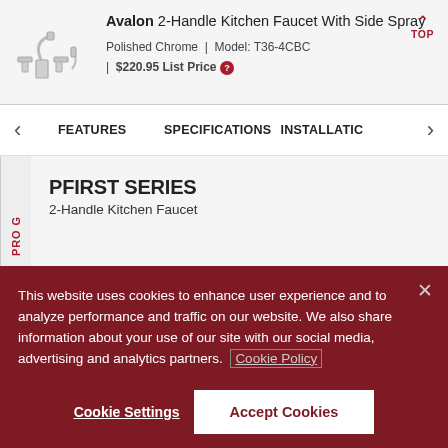Avalon 2-Handle Kitchen Faucet With Side Spray
Polished Chrome | Model: T36-4CBC | $220.95 List Price
FEATURES   SPECIFICATIONS   INSTALLATION
PRO G
PFIRST SERIES
2-Handle Kitchen Faucet
This website uses cookies to enhance user experience and to analyze performance and traffic on our website. We also share information about your use of our site with our social media, advertising and analytics partners. Cookie Policy
Cookie Settings   Accept Cookies